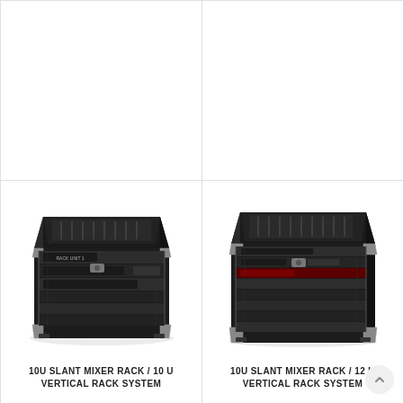[Figure (photo): Top-left empty product cell (image not visible)]
[Figure (photo): Top-right empty product cell (image not visible)]
[Figure (photo): Photo of a black DJ rack case with slant mixer section and vertical rack units - 10U Slant Mixer Rack / 10U Vertical Rack System]
10U SLANT MIXER RACK / 10 U VERTICAL RACK SYSTEM
[Figure (photo): Photo of a black DJ rack case with slant mixer section and 12U vertical rack units - 10U Slant Mixer Rack / 12U Vertical Rack System]
10U SLANT MIXER RACK / 12 U VERTICAL RACK SYSTEM